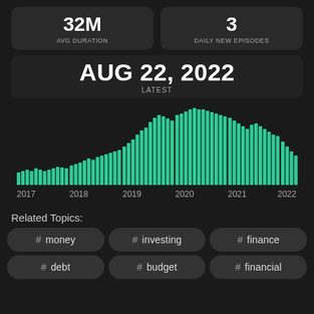32M AVG DURATION
3 DAILY NEW EPISODES
AUG 22, 2022
LATEST
[Figure (bar-chart): Episodes over time 2017-2022]
Related Topics:
# money
# investing
# finance
# debt
# budget
# financial